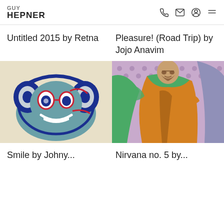GUY HEPNER
Untitled 2015 by Retna
Pleasure! (Road Trip) by Jojo Anavim
[Figure (illustration): Colorful pop-art style illustration of a cartoon character wearing headphones, with blue, red, white colors on a cream background]
[Figure (illustration): Comic-book style illustration of a robed monk figure in orange and green, on a purple dotted background]
Smile by Johny...
Nirvana no. 5 by...